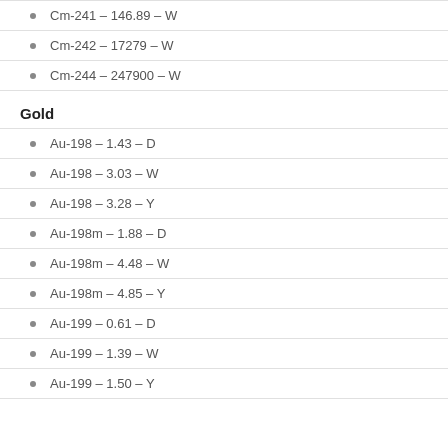Cm-241 – 146.89 – W
Cm-242 – 17279 – W
Cm-244 – 247900 – W
Gold
Au-198 – 1.43 – D
Au-198 – 3.03 – W
Au-198 – 3.28 – Y
Au-198m – 1.88 – D
Au-198m – 4.48 – W
Au-198m – 4.85 – Y
Au-199 – 0.61 – D
Au-199 – 1.39 – W
Au-199 – 1.50 – Y